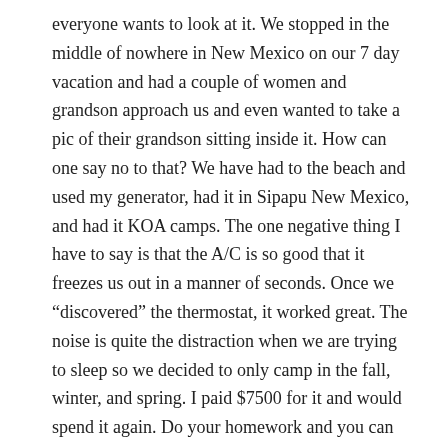everyone wants to look at it. We stopped in the middle of nowhere in New Mexico on our 7 day vacation and had a couple of women and grandson approach us and even wanted to take a pic of their grandson sitting inside it. How can one say no to that? We have had to the beach and used my generator, had it in Sipapu New Mexico, and had it KOA camps. The one negative thing I have to say is that the A/C is so good that it freezes us out in a manner of seconds. Once we “discovered” the thermostat, it worked great. The noise is quite the distraction when we are trying to sleep so we decided to only camp in the fall, winter, and spring. I paid $7500 for it and would spend it again. Do your homework and you can find a good deal.